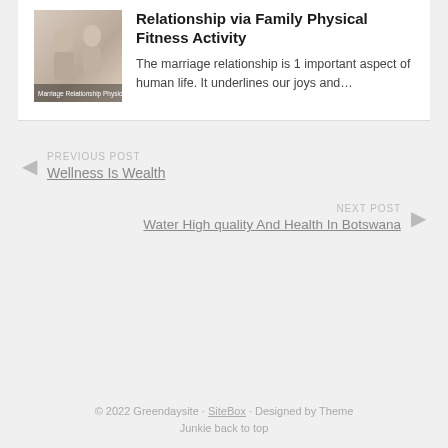[Figure (photo): Image of people doing family physical fitness activity, with overlay text 'Marriage Relationship Physic']
Relationship via Family Physical Fitness Activity
The marriage relationship is 1 important aspect of human life. It underlines our joys and…
◀ PREVIOUS POST
Wellness Is Wealth
NEXT POST ▶
Water High quality And Health In Botswana
© 2022 Greendaysite · SiteBox · Designed by Theme Junkie back to top